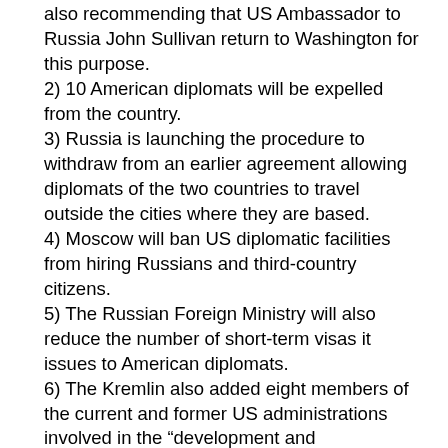also recommending that US Ambassador to Russia John Sullivan return to Washington for this purpose.
2) 10 American diplomats will be expelled from the country.
3) Russia is launching the procedure to withdraw from an earlier agreement allowing diplomats of the two countries to travel outside the cities where they are based.
4) Moscow will ban US diplomatic facilities from hiring Russians and third-country citizens.
5) The Russian Foreign Ministry will also reduce the number of short-term visas it issues to American diplomats.
6) The Kremlin also added eight members of the current and former US administrations involved in the “development and implementation of the anti-Russian course” in American politics to the no-entry list.
7) In addition, Moscow will be banning the operations of US foundations (NGO’s and funding too) – working in Russia with the aim of meddling in the country’s domestic politics.
The list of eight people who have been banned from entering Russia includes six current Biden administration officials: FBI Director Christopher Wray, Attorney General Merrick Garland, Secretary of Homeland Security Alejandro Mayorkas, Director of